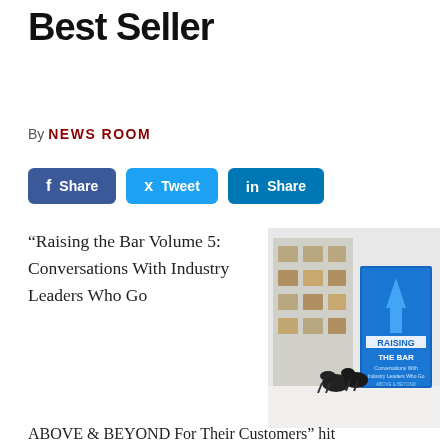Best Seller
By NEWS ROOM
[Figure (other): Social sharing buttons: Facebook Share, Tweet, LinkedIn Share]
“Raising the Bar Volume 5: Conversations With Industry Leaders Who Go
[Figure (photo): Photo of a book titled 'Raising The Bar: Conversations With Industry Leaders Who Go Above & Beyond For Their Customers' standing on a white surface next to two black bird figurines, with a building exterior in the background.]
ABOVE & BEYOND For Their Customers” hit